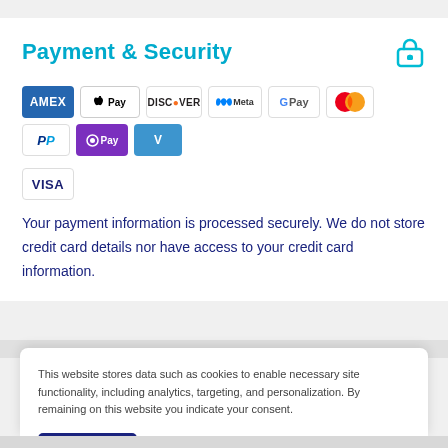Payment & Security
[Figure (infographic): Payment method logos: AMEX, Apple Pay, Discover, Meta Pay, Google Pay, Mastercard, PayPal, OPay, Venmo, Visa]
Your payment information is processed securely. We do not store credit card details nor have access to your credit card information.
This website stores data such as cookies to enable necessary site functionality, including analytics, targeting, and personalization. By remaining on this website you indicate your consent.